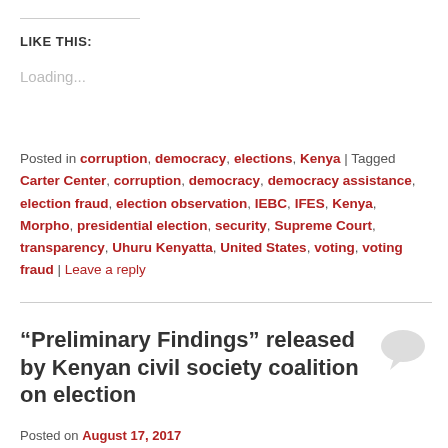LIKE THIS:
Loading...
Posted in corruption, democracy, elections, Kenya | Tagged Carter Center, corruption, democracy, democracy assistance, election fraud, election observation, IEBC, IFES, Kenya, Morpho, presidential election, security, Supreme Court, transparency, Uhuru Kenyatta, United States, voting, voting fraud | Leave a reply
“Preliminary Findings” released by Kenyan civil society coalition on election
Posted on August 17, 2017